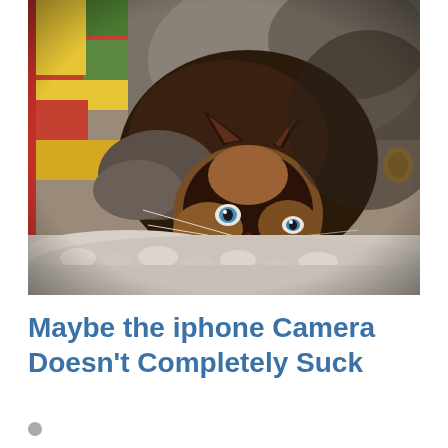[Figure (photo): A Siamese or Burmese cat lying on its side looking upward at the camera with blue eyes, dark brown and tan coloring, with whiskers visible. The cat is resting on a fluffy white/gray blanket with a colorful quilted fabric visible in the background (yellow, red, green patches) and gray fabric in the upper portion.]
Maybe the iphone Camera Doesn’t Completely Suck